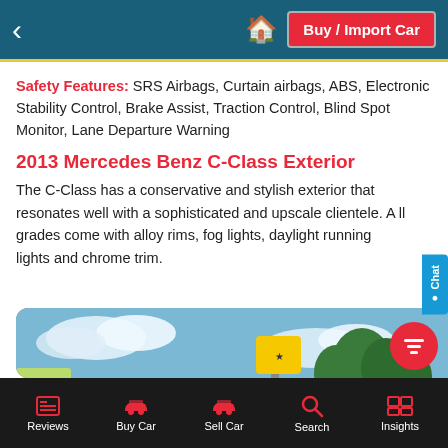Buy / Import Car
Safety Features: SRS Airbags, Curtain airbags, ABS, Electronic Stability Control, Brake Assist, Traction Control, Blind Spot Monitor, Lane Departure Warning
2013 Mercedes Benz C-Class Exterior
The C-Class has a conservative and stylish exterior that resonates well with a sophisticated and upscale clientele. All grades come with alloy rims, fog lights, daylight running lights and chrome trim.
[Figure (photo): Photo of a white Mercedes Benz C-Class sedan parked on a street with trees and signage in the background]
Reviews | Buy Car | Sell Car | Search | Insights